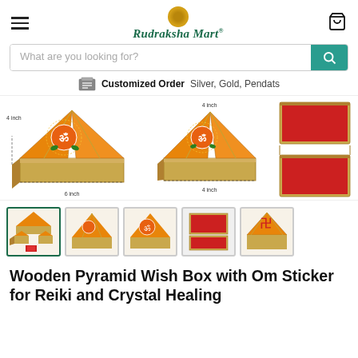Rudraksha Mart
What are you looking for?
Customized Order Silver, Gold, Pendats
[Figure (photo): Three views of a Wooden Pyramid Wish Box: two showing the pyramid closed with orange Om/Swastika sticker decoration and dimension annotations (6 inch base, 4 inch height), and one showing the box open revealing red interior lining.]
[Figure (photo): Thumbnail gallery of 5 product images: collage of multiple pyramid boxes, single pyramid box, pyramid box open view, open red-lined box, and decorated pyramid top view with swastika symbol.]
Wooden Pyramid Wish Box with Om Sticker for Reiki and Crystal Healing